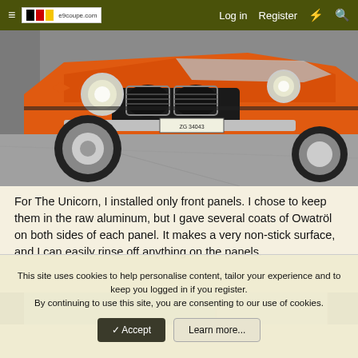e9coupe.com  Log in  Register
[Figure (photo): Front view of an orange classic BMW 2002 on a concrete surface, showing the distinctive kidney grille, round headlights, and chrome bumper. License plate reads ZG 34043.]
For The Unicorn, I installed only front panels. I chose to keep them in the raw aluminum, but I gave several coats of Owatröl on both sides of each panel. It makes a very non-stick surface, and I can easily rinse off anything on the panels.
[Figure (photo): Partial bottom strip showing closeup of teal/turquoise and silver car body panels.]
This site uses cookies to help personalise content, tailor your experience and to keep you logged in if you register.
By continuing to use this site, you are consenting to our use of cookies.